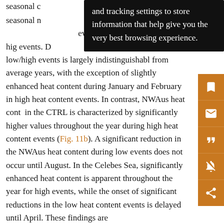seasonal ... [text partially obscured] ...ember is amplifi... events, w... high events. D... sona cycle during low/high events is largely indistinguishable from average years, with the exception of slightly enhanced heat content during January and February in high heat content events. In contrast, NWAus heat content in the CTRL is characterized by significantly higher values throughout the year during high heat content events (Fig. 11b). A significant reduction in the NWAus heat content during low events does not occur until August. In the Celebes Sea, significantly enhanced heat content is apparent throughout the year for high events, while the onset of significant reductions in the low heat content events is delayed until April. These findings are
[Figure (screenshot): Browser tooltip/cookie consent overlay with dark background, text: 'and tracking settings to store information that help give you the very best browsing experience.']